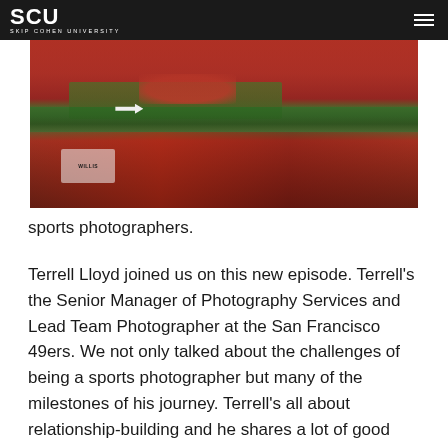SCU — Skip Cohen University
[Figure (photo): Aerial view of a football stadium with a large red Tampa Bay Buccaneers logo on the field, surrounded by a crowd of fans in red jerseys and caps in the foreground. A white arrow indicator is visible on the left side of the image.]
sports photographers.
Terrell Lloyd joined us on this new episode. Terrell's the Senior Manager of Photography Services and Lead Team Photographer at the San Francisco 49ers. We not only talked about the challenges of being a sports photographer but many of the milestones of his journey. Terrell's all about relationship-building and he shares a lot of good insight in his story from starting out as a pro-bowler to today.